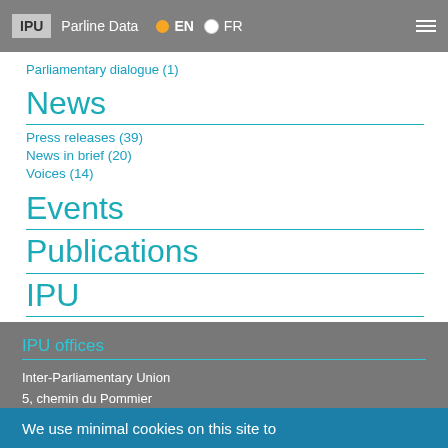IPU  Parline Data  EN  FR
Parliamentary dialogue (1)
News
Press releases (39)
News in brief (20)
Voices (14)
Events
Publications
IPU
IPU offices
Inter-Parliamentary Union
5, chemin du Pommier
Case postale 330
CH-1218 Le Grand-Saconnex
We use minimal cookies on this site to